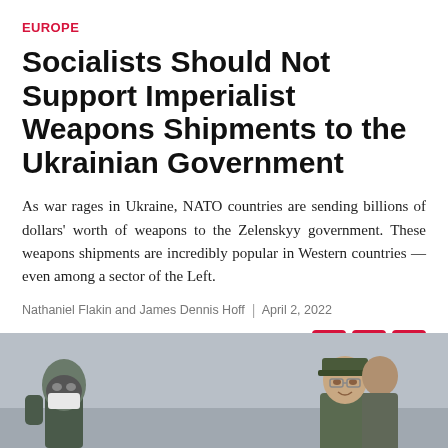EUROPE
Socialists Should Not Support Imperialist Weapons Shipments to the Ukrainian Government
As war rages in Ukraine, NATO countries are sending billions of dollars' worth of weapons to the Zelenskyy government. These weapons shipments are incredibly popular in Western countries — even among a sector of the Left.
Nathaniel Flakin and James Dennis Hoff  |  April 2, 2022
[Figure (photo): Photo strip at bottom of page showing two figures in military/winter clothing against a grey background]